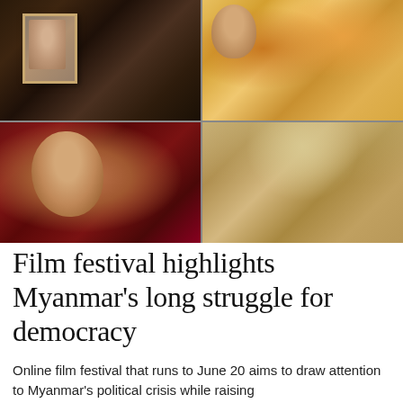[Figure (photo): Four-photo grid: top-left: woman standing in wooden doorway holding a framed portrait photo; top-right: children in orange monk robes and pink clothing looking at camera; bottom-left: close-up of young girl with Myanmar flag sticker on cheek, red background; bottom-right: outdoor crowd scene with people walking in dusty hazy conditions.]
Film festival highlights Myanmar’s long struggle for democracy
Online film festival that runs to June 20 aims to draw attention to Myanmar’s political crisis while raising